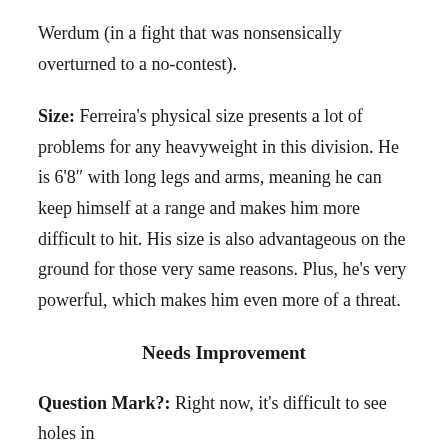Werdum (in a fight that was nonsensically overturned to a no-contest).
Size: Ferreira's physical size presents a lot of problems for any heavyweight in this division. He is 6'8″ with long legs and arms, meaning he can keep himself at a range and makes him more difficult to hit. His size is also advantageous on the ground for those very same reasons. Plus, he's very powerful, which makes him even more of a threat.
Needs Improvement
Question Mark?: Right now, it's difficult to see holes in